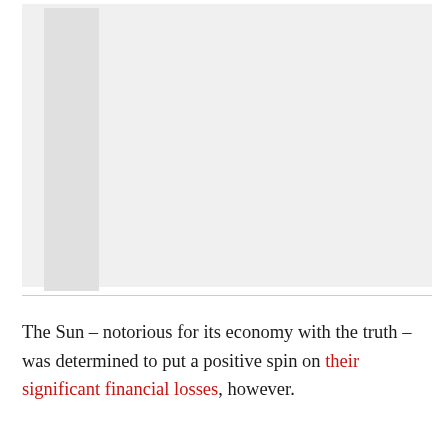[Figure (other): A mostly blank figure area with a gray left sidebar column, representing a cropped image or chart region partially visible.]
The Sun – notorious for its economy with the truth – was determined to put a positive spin on their significant financial losses, however.